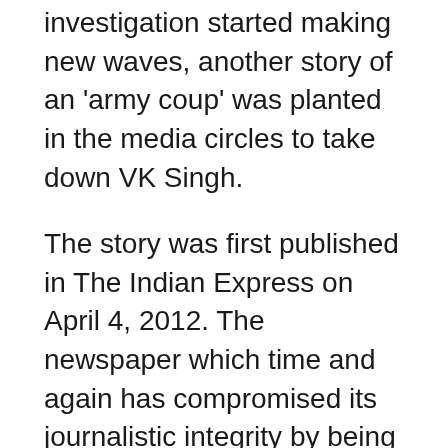investigation started making new waves, another story of an 'army coup' was planted in the media circles to take down VK Singh.
The story was first published in The Indian Express on April 4, 2012. The newspaper which time and again has compromised its journalistic integrity by being a lapdog of UPA and Congrees had reported that on January 16 (the day the then army chief General VK Singh approached the Supreme Court on his date of birth issue), central intelligence agencies reported an unexpected and non-notified